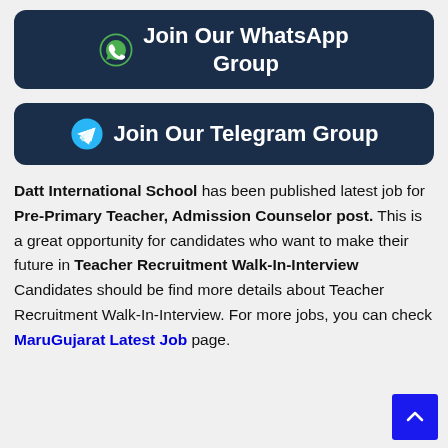[Figure (other): Dark navy rounded button with WhatsApp icon and text 'Join Our WhatsApp Group']
[Figure (other): Dark navy rounded button with Telegram icon and text 'Join Our Telegram Group']
Datt International School has been published latest job for Pre-Primary Teacher, Admission Counselor post. This is a great opportunity for candidates who want to make their future in Teacher Recruitment Walk-In-Interview Candidates should be find more details about Teacher Recruitment Walk-In-Interview. For more jobs, you can check MaruGujarat Latest Job page.